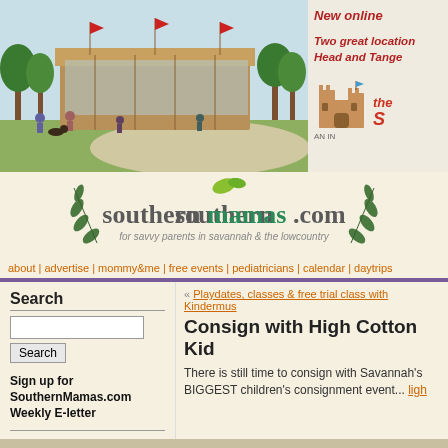[Figure (illustration): Architectural rendering of an outdoor pavilion/market building with trees, flags, and people walking around]
[Figure (illustration): Right side ad with text: New online, Two great locations, Hilton Head and Tangergr... with castle logo]
[Figure (logo): southernmamas.com logo - for savvy parents in savannah & the lowcountry]
about | advertise | mommy&me | free events | pediatricians | calendar | daytrips
Search
Sign up for SouthernMamas.com Weekly E-letter
« Playdates, classes & free trial class with Kindermus
Consign with High Cotton Kid
There is still time to consign with Savannah's BIGGEST children's consignment event...